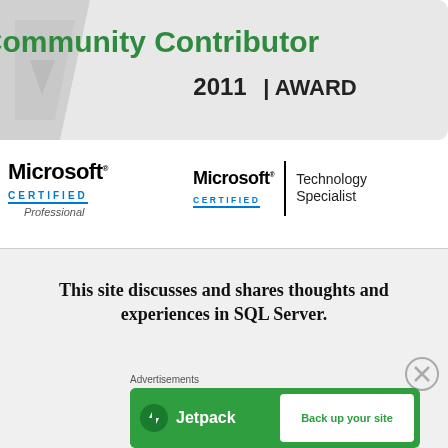[Figure (logo): Microsoft Community Contributor 2011 Award badge — grey ribbon/badge shape with green text 'Community Contributor' and '2011 | AWARD']
[Figure (logo): Microsoft Certified Professional logo — Microsoft wordmark, 'CERTIFIED' in blue spaced caps underlined, 'Professional' in italic grey]
[Figure (logo): Microsoft Certified Technology Specialist logo — Microsoft wordmark, 'CERTIFIED' in blue spaced caps underlined, vertical black bar, 'Technology Specialist' in grey]
This site discusses and shares thoughts and experiences in SQL Server.
Advertisements
[Figure (screenshot): Jetpack advertisement banner — green background, Jetpack logo on left, white button on right reading 'Back up your site']